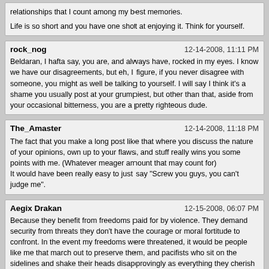relationships that I count among my best memories.

Life is so short and you have one shot at enjoying it. Think for yourself.
rock_nog
12-14-2008, 11:11 PM
Beldaran, I hafta say, you are, and always have, rocked in my eyes. I know we have our disagreements, but eh, I figure, if you never disagree with someone, you might as well be talking to yourself. I will say I think it's a shame you usually post at your grumpiest, but other than that, aside from your occasional bitterness, you are a pretty righteous dude.
The_Amaster
12-14-2008, 11:18 PM
The fact that you make a long post like that where you discuss the nature of your opinions, own up to your flaws, and stuff really wins you some points with me. (Whatever meager amount that may count for)
It would have been really easy to just say "Screw you guys, you can't judge me".
Aegix Drakan
12-15-2008, 06:07 PM
Because they benefit from freedoms paid for by violence. They demand security from threats they don't have the courage or moral fortitude to confront. In the event my freedoms were threatened, it would be people like me that march out to preserve them, and pacifists who sit on the sidelines and shake their heads disapprovingly as everything they cherish is payed for with blood and sacrifice.

There will always be violent bad people. If violent good people did not stand against them, pacifists would live in chains, or be exterminated.

Alright, I do admit that you make a very good point.